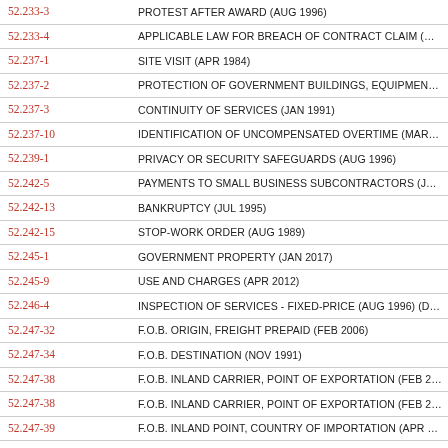| Clause | Title |
| --- | --- |
| 52.233-3 | PROTEST AFTER AWARD (AUG 1996) |
| 52.233-4 | APPLICABLE LAW FOR BREACH OF CONTRACT CLAIM (OCT 2004) |
| 52.237-1 | SITE VISIT (APR 1984) |
| 52.237-2 | PROTECTION OF GOVERNMENT BUILDINGS, EQUIPMENT, AND VEGE… |
| 52.237-3 | CONTINUITY OF SERVICES (JAN 1991) |
| 52.237-10 | IDENTIFICATION OF UNCOMPENSATED OVERTIME (MAR 2015) |
| 52.239-1 | PRIVACY OR SECURITY SAFEGUARDS (AUG 1996) |
| 52.242-5 | PAYMENTS TO SMALL BUSINESS SUBCONTRACTORS (JAN 2017) |
| 52.242-13 | BANKRUPTCY (JUL 1995) |
| 52.242-15 | STOP-WORK ORDER (AUG 1989) |
| 52.245-1 | GOVERNMENT PROPERTY (JAN 2017) |
| 52.245-9 | USE AND CHARGES (APR 2012) |
| 52.246-4 | INSPECTION OF SERVICES - FIXED-PRICE (AUG 1996) (DEVIATION I - N… |
| 52.247-32 | F.O.B. ORIGIN, FREIGHT PREPAID (FEB 2006) |
| 52.247-34 | F.O.B. DESTINATION (NOV 1991) |
| 52.247-38 | F.O.B. INLAND CARRIER, POINT OF EXPORTATION (FEB 2006) |
| 52.247-38 | F.O.B. INLAND CARRIER, POINT OF EXPORTATION (FEB 2006) (DEVIAT… |
| 52.247-39 | F.O.B. INLAND POINT, COUNTRY OF IMPORTATION (APR 1984) |
| 52.247-64 | PREFERENCE FOR PRIVATELY OWNED U.S. - FLAG COMMERCIAL VES… |